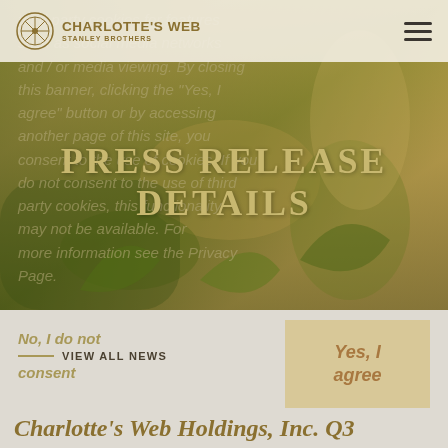[Figure (photo): Hero background photo of hands tending to cannabis/hemp plants in a field with golden-green light]
CHARLOTTE'S WEB | STANLEY BROTHERS
PRESS RELEASE DETAILS
No, I do not consent
VIEW ALL NEWS
Yes, I agree
Charlotte's Web Holdings, Inc. Q3